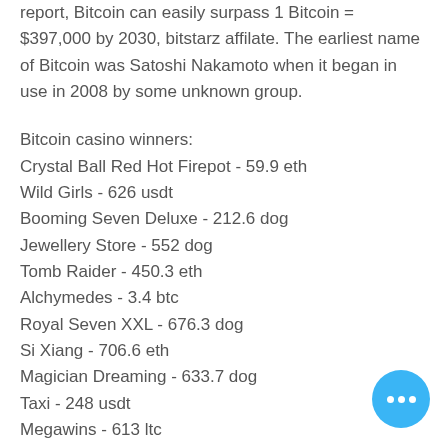report, Bitcoin can easily surpass 1 Bitcoin = $397,000 by 2030, bitstarz affilate. The earliest name of Bitcoin was Satoshi Nakamoto when it began in use in 2008 by some unknown group.
Bitcoin casino winners:
Crystal Ball Red Hot Firepot - 59.9 eth
Wild Girls - 626 usdt
Booming Seven Deluxe - 212.6 dog
Jewellery Store - 552 dog
Tomb Raider - 450.3 eth
Alchymedes - 3.4 btc
Royal Seven XXL - 676.3 dog
Si Xiang - 706.6 eth
Magician Dreaming - 633.7 dog
Taxi - 248 usdt
Megawins - 613 ltc
Golden Ticket - 690.7 usdt
7 Sins - 191 usdt
Wild Rubies Christmas Edition - 330 b…
Battle Tanks - 476.4 usdt